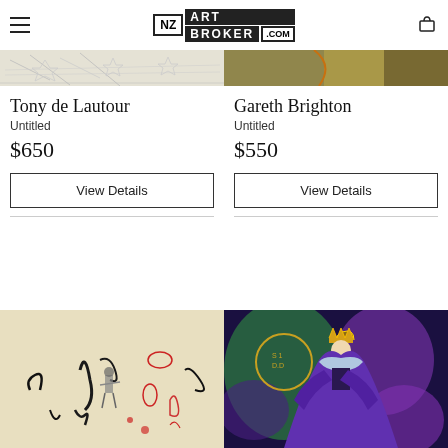NZ ART BROKER .COM
[Figure (photo): Partial top view of Tony de Lautour artwork - abstract/geometric line drawing on light background]
Tony de Lautour
Untitled
$650
View Details
[Figure (photo): Partial top view of Gareth Brighton artwork - abstract painting with brown and green tones]
Gareth Brighton
Untitled
$550
View Details
[Figure (photo): Abstract artwork with black ink marks, red organic shapes, small figure on light beige background]
[Figure (photo): Digital artwork showing Disney Evil Queen character in purple cape with gold crown against dark colorful background, with circular gold medallion overlay]